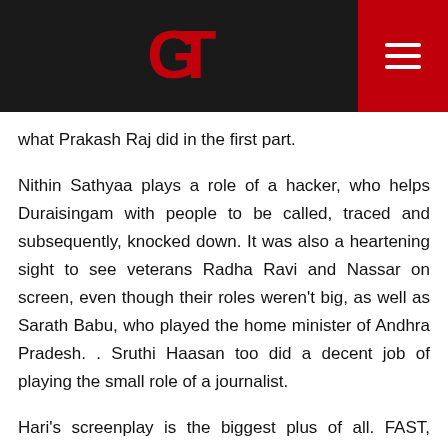[Logo: GT] [Hamburger menu]
what Prakash Raj did in the first part.
Nithin Sathyaa plays a role of a hacker, who helps Duraisingam with people to be called, traced and subsequently, knocked down. It was also a heartening sight to see veterans Radha Ravi and Nassar on screen, even though their roles weren't big, as well as Sarath Babu, who played the home minister of Andhra Pradesh. . Sruthi Haasan too did a decent job of playing the small role of a journalist.
Hari's screenplay is the biggest plus of all. FAST, FAST AND FAST. Can we imagine any other director doing a racier screenplay than this? The movie picks